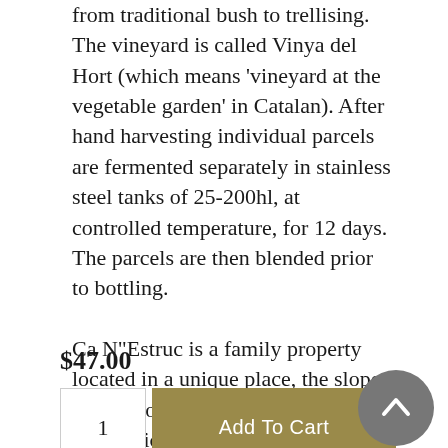from traditional bush to trellising. The vineyard is called Vinya del Hort (which means 'vineyard at the vegetable garden' in Catalan). After hand harvesting individual parcels are fermented separately in stainless steel tanks of 25-200hl, at controlled temperature, for 12 days. The parcels are then blended prior to bottling.

Ca N"Estruc is a family property located in a unique place, the slopes of the mountain of Montserrat, in the municipal term of Esparreguera (near Barcelona). The estate is one of the oldest properties –documented since 1574– and has lived in harmony with its environment for centuries. Currently, 22 hectares of vineyards are cultivated in this unique area –benefited and sheltered by this magical mountain– from which full ranges of young and ageing wines are elaborated. Ca N"Estruc is the first winery registered in the DO Catalunya
$47.00
1
Add To Cart